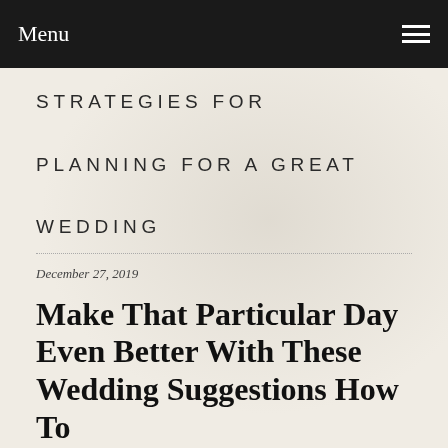Menu
STRATEGIES FOR PLANNING FOR A GREAT WEDDING
December 27, 2019
Make That Particular Day Even Better With These Wedding Suggestions How To